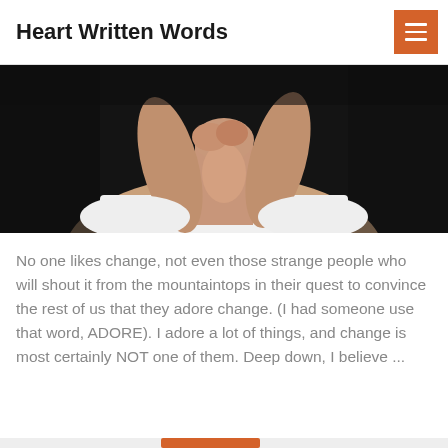Heart Written Words
[Figure (photo): A woman in a white strapless top against a dark background, hands clasped near her neck/chest in a contemplative pose.]
No one likes change, not even those strange people who will shout it from the mountaintops in their quest to convince the rest of us that they adore change. (I had someone use that word, ADORE). I adore a lot of things, and change is most certainly NOT one of them. Deep down, I believe ...